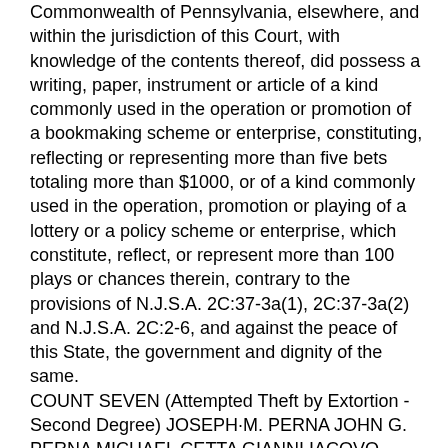Commonwealth of Pennsylvania, elsewhere, and within the jurisdiction of this Court, with knowledge of the contents thereof, did possess a writing, paper, instrument or article of a kind commonly used in the operation or promotion of a bookmaking scheme or enterprise, constituting, reflecting or representing more than five bets totaling more than $1000, or of a kind commonly used in the operation, promotion or playing of a lottery or a policy scheme or enterprise, which constitute, reflect, or represent more than 100 plays or chances therein, contrary to the provisions of N.J.S.A. 2C:37-3a(1), 2C:37-3a(2) and N.J.S.A. 2C:2-6, and against the peace of this State, the government and dignity of the same.
COUNT SEVEN (Attempted Theft by Extortion -Second Degree) JOSEPH·M. PERNA JOHN G. PERNA MICHAEL CETTA GIANNI IACOVO JAMES FURFARO and ROBERT ROMANO between in or about June 2007, and in or about December 2007, at the Borough of Elmwood Park, at the Borough of Fort Lee, and at the Township of Wyckoff, all in